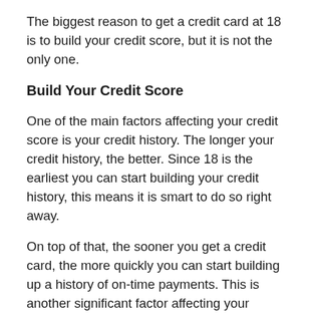The biggest reason to get a credit card at 18 is to build your credit score, but it is not the only one.
Build Your Credit Score
One of the main factors affecting your credit score is your credit history. The longer your credit history, the better. Since 18 is the earliest you can start building your credit history, this means it is smart to do so right away.
On top of that, the sooner you get a credit card, the more quickly you can start building up a history of on-time payments. This is another significant factor affecting your score, giving you a nice boost.